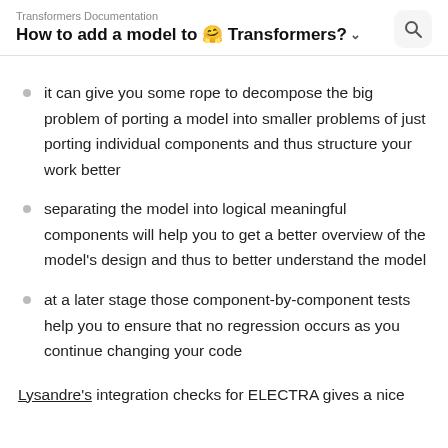Transformers Documentation
How to add a model to 🤗 Transformers?
it can give you some rope to decompose the big problem of porting a model into smaller problems of just porting individual components and thus structure your work better
separating the model into logical meaningful components will help you to get a better overview of the model's design and thus to better understand the model
at a later stage those component-by-component tests help you to ensure that no regression occurs as you continue changing your code
Lysandre's integration checks for ELECTRA gives a nice